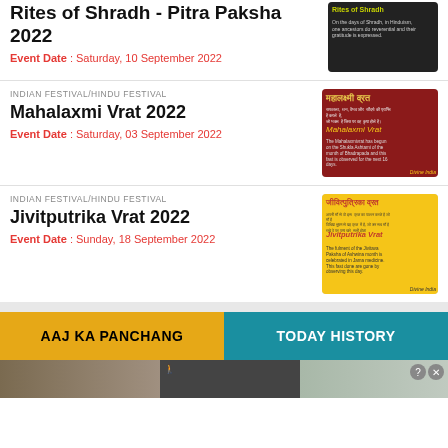Rites of Shradh - Pitra Paksha 2022
Event Date : Saturday, 10 September 2022
[Figure (photo): Rites of Shradh promotional image with dark background, yellow title text 'Rites of Shradh', and small descriptive text below]
INDIAN FESTIVAL/HINDU FESTIVAL
Mahalaxmi Vrat 2022
Event Date : Saturday, 03 September 2022
[Figure (photo): Mahalaxmi Vrat promotional image with dark red background, Hindi text 'महालक्ष्मी व्रत', italic subtitle 'Mahalaxmi Vrat', and small descriptive text, with image of goddess on right]
INDIAN FESTIVAL/HINDU FESTIVAL
Jivitputrika Vrat 2022
Event Date : Sunday, 18 September 2022
[Figure (photo): Jivitputrika Vrat promotional image with yellow background, Hindi text 'जीवित्पुत्रिका व्रत', red italic subtitle 'Jivitputrika Vrat', and small descriptive text, with puja pot image on right]
AAJ KA PANCHANG
TODAY HISTORY